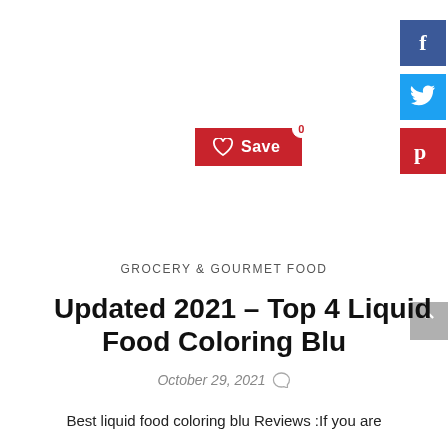[Figure (other): Save button with heart icon, red background, showing count 0]
[Figure (other): Social sharing sidebar with Facebook (blue), Twitter (cyan), Pinterest (red) icons]
[Figure (other): Scroll-to-top button, gray background with up arrow]
GROCERY & GOURMET FOOD
Updated 2021 – Top 4 Liquid Food Coloring Blu
October 29, 2021
Best liquid food coloring blu Reviews :If you are